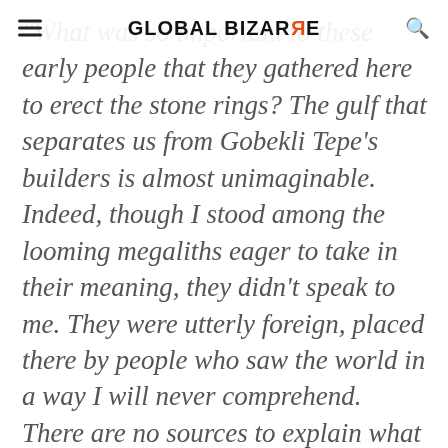GLOBAL BIZARRE
"What was so important to these early people that they gathered here to erect the stone rings? The gulf that separates us from Gobekli Tepe's builders is almost unimaginable. Indeed, though I stood among the looming megaliths eager to take in their meaning, they didn't speak to me. They were utterly foreign, placed there by people who saw the world in a way I will never comprehend. There are no sources to explain what the symbols might mean. Schmidt agrees. 'We're 6,000 years before the beginning of written history.'